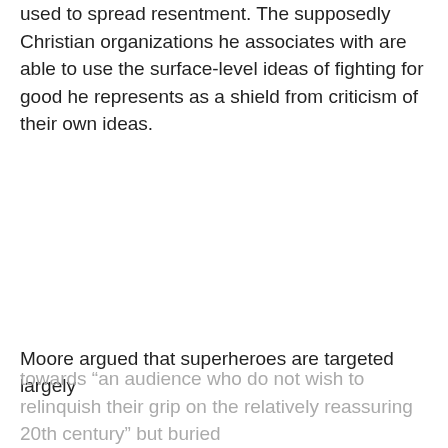used to spread resentment. The supposedly Christian organizations he associates with are able to use the surface-level ideas of fighting for good he represents as a shield from criticism of their own ideas.
Moore argued that superheroes are targeted largely towards “an audience who do not wish to relinquish their grip on the relatively reassuring 20th century” but buried